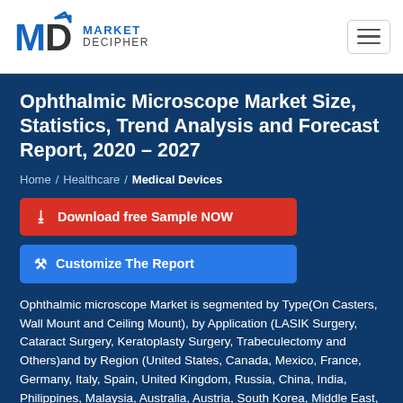[Figure (logo): Market Decipher logo with stylized MD letters and upward arrow]
Ophthalmic Microscope Market Size, Statistics, Trend Analysis and Forecast Report, 2020 - 2027
Home / Healthcare / Medical Devices
Download free Sample NOW
Customize The Report
Ophthalmic microscope Market is segmented by Type(On Casters, Wall Mount and Ceiling Mount), by Application (LASIK Surgery, Cataract Surgery, Keratoplasty Surgery, Trabeculectomy and Others) and by Region (United States, Canada, Mexico, France, Germany, Italy, Spain, United Kingdom, Russia, China, India, Philippines, Malaysia, Australia, Austria, South Korea, Middle East, Japan, Africa and Rest of